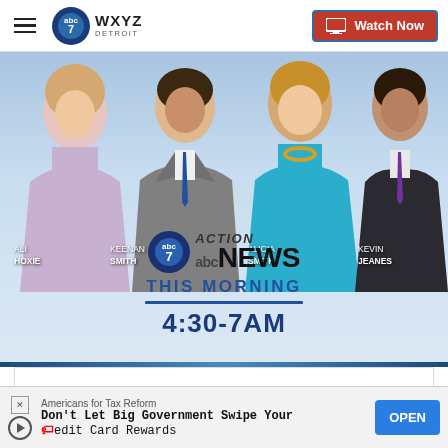WXYZ Detroit — Watch Now
[Figure (photo): WXYZ Detroit Action News This Morning promo image showing four anchors — Ali Hoxie, Keenan Smith, Alicia Smith, Kevin Jeanes — with Action News logo and time 4:30-7AM]
Latest news, weather and traffic to start your day!
Americans for Tax Reform
Don't Let Big Government Swipe Your Credit Card Rewards
OPEN